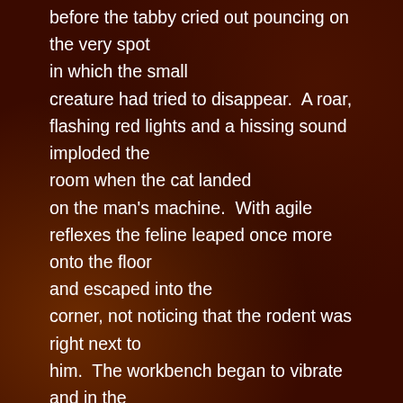before the tabby cried out pouncing on the very spot in which the small creature had tried to disappear.  A roar, flashing red lights and a hissing sound imploded the room when the cat landed on the man's machine.  With agile reflexes the feline leaped once more onto the floor and escaped into the corner, not noticing that the rodent was right next to him.  The workbench began to vibrate and in the next instant the machine expelled a tail of fire before crashing through the windows into the night sky.
    The cries of anguish